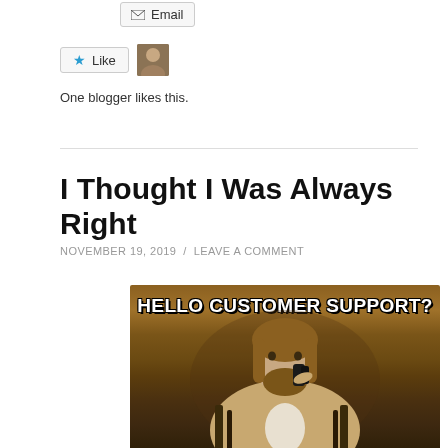[Figure (screenshot): Email button with envelope icon]
[Figure (screenshot): Like button with blue star and blogger avatar thumbnail]
One blogger likes this.
I Thought I Was Always Right
NOVEMBER 19, 2019 / LEAVE A COMMENT
[Figure (photo): Meme image of a man holding a phone to his ear with text 'HELLO CUSTOMER SUPPORT?' overlaid at the top. The man has long hair and a beard, wearing a patterned cardigan, appearing to be in a bar or similar setting.]